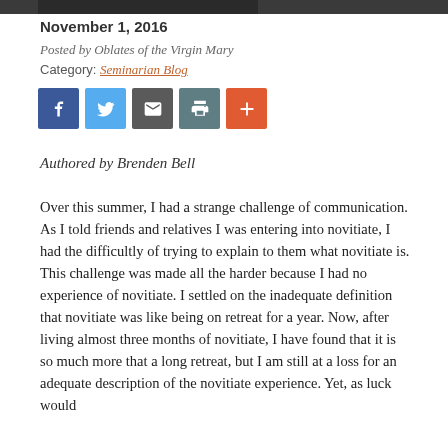[Figure (photo): Partial top of a photograph, dark toned image cropped at top of page]
November 1, 2016
Posted by Oblates of the Virgin Mary
Category: Seminarian Blog
[Figure (infographic): Social sharing buttons: Facebook, Twitter, Email, Print, AddThis (plus icon)]
Authored by Brenden Bell
Over this summer, I had a strange challenge of communication. As I told friends and relatives I was entering into novitiate, I had the difficultly of trying to explain to them what novitiate is. This challenge was made all the harder because I had no experience of novitiate. I settled on the inadequate definition that novitiate was like being on retreat for a year. Now, after living almost three months of novitiate, I have found that it is so much more that a long retreat, but I am still at a loss for an adequate description of the novitiate experience. Yet, as luck would